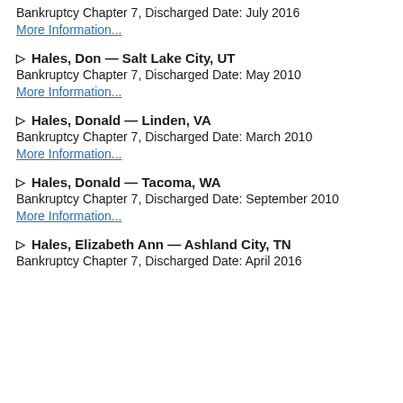Bankruptcy Chapter 7, Discharged Date: July 2016
More Information...
▷ Hales, Don — Salt Lake City, UT
Bankruptcy Chapter 7, Discharged Date: May 2010
More Information...
▷ Hales, Donald — Linden, VA
Bankruptcy Chapter 7, Discharged Date: March 2010
More Information...
▷ Hales, Donald — Tacoma, WA
Bankruptcy Chapter 7, Discharged Date: September 2010
More Information...
▷ Hales, Elizabeth Ann — Ashland City, TN
Bankruptcy Chapter 7, Discharged Date: April 2016